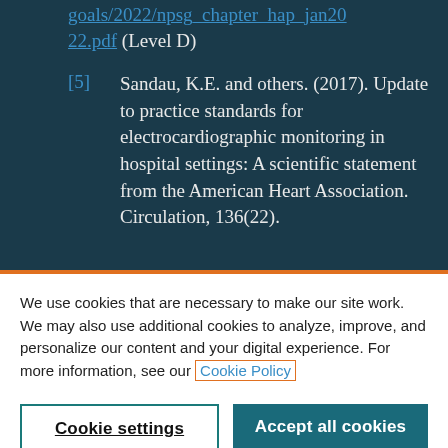goals/2022/npsg_chapter_hap_jan2022.pdf (Level D)
[5] Sandau, K.E. and others. (2017). Update to practice standards for electrocardiographic monitoring in hospital settings: A scientific statement from the American Heart Association. Circulation, 136(22).
We use cookies that are necessary to make our site work. We may also use additional cookies to analyze, improve, and personalize our content and your digital experience. For more information, see our Cookie Policy